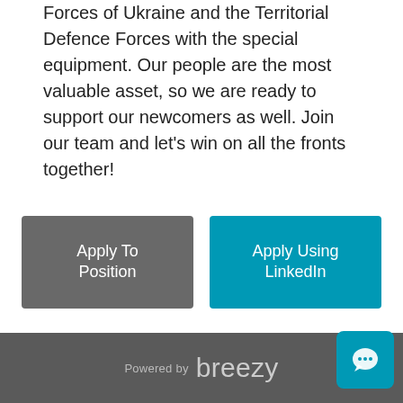Forces of Ukraine and the Territorial Defence Forces with the special equipment. Our people are the most valuable asset, so we are ready to support our newcomers as well. Join our team and let's win on all the fronts together!
Apply To Position
Apply Using LinkedIn
Powered by breezy